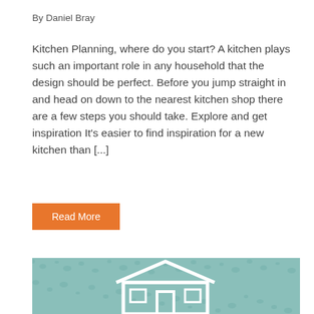By Daniel Bray
Kitchen Planning, where do you start? A kitchen plays such an important role in any household that the design should be perfect. Before you jump straight in and head on down to the nearest kitchen shop there are a few steps you should take. Explore and get inspiration It's easier to find inspiration for a new kitchen than [...]
Read More
[Figure (illustration): Background image of a house outline drawn in water droplets on a teal/mint colored condensation surface, with a dark grey date badge showing 23/02/2019 in the top right corner]